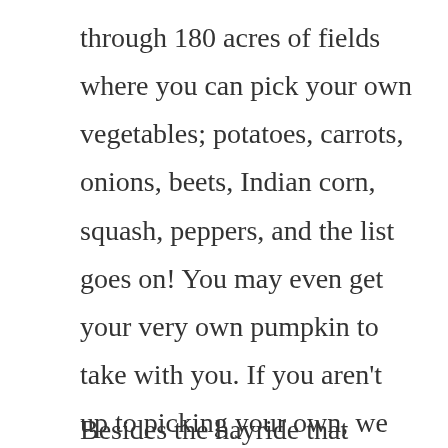through 180 acres of fields where you can pick your own vegetables; potatoes, carrots, onions, beets, Indian corn, squash, peppers, and the list goes on! You may even get your very own pumpkin to take with you. If you aren't up to picking your own, we always have plenty of produce on hand in the roadside stand. We also have our chile roaster going for a wonderful treat! We do offer snacks, drinks and other delicious treats with food on the weekends!
Besides the hayride that takes you to the